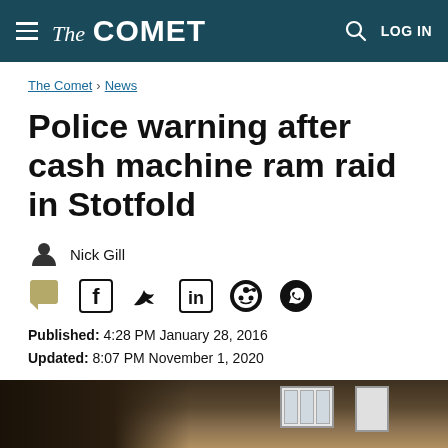The Comet — LOG IN
The Comet > News
Police warning after cash machine ram raid in Stotfold
Nick Gill
Published: 4:28 PM January 28, 2016
Updated: 8:07 PM November 1, 2020
[Figure (photo): Bottom portion of a news article page showing a building exterior with brick walls and windows, dark foreground]